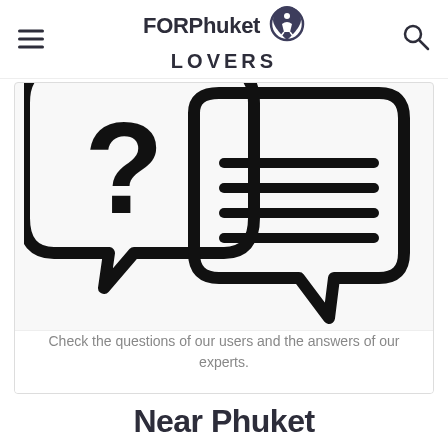FOR Phuket LOVERS
[Figure (illustration): Two speech bubbles: a smaller one with a question mark on the left, and a larger one with horizontal lines (representing text) on the right, both with thick black outlines on a light gray background.]
Check the questions of our users and the answers of our experts.
Near Phuket